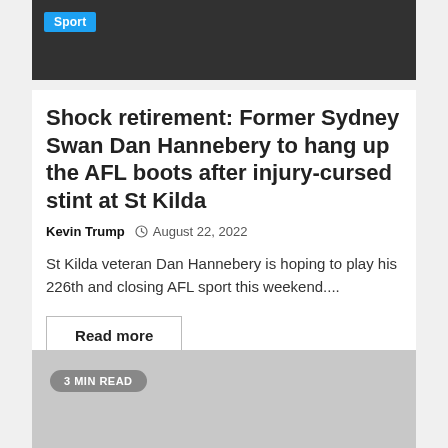[Figure (photo): Dark background photo of a person, with a Sport badge overlay in the top-left corner]
Shock retirement: Former Sydney Swan Dan Hannebery to hang up the AFL boots after injury-cursed stint at St Kilda
Kevin Trump  •  August 22, 2022
St Kilda veteran Dan Hannebery is hoping to play his 226th and closing AFL sport this weekend....
Read more
[Figure (photo): Gray placeholder image with a '3 MIN READ' badge in the top-left area]